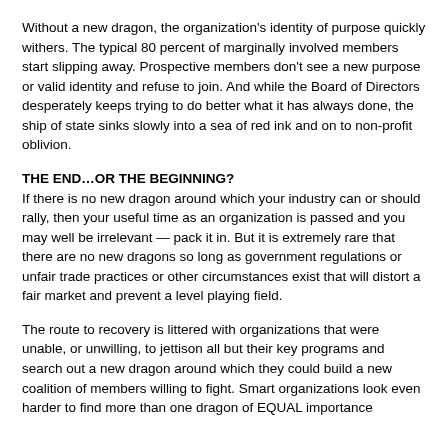Without a new dragon, the organization's identity of purpose quickly withers. The typical 80 percent of marginally involved members start slipping away. Prospective members don't see a new purpose or valid identity and refuse to join. And while the Board of Directors desperately keeps trying to do better what it has always done, the ship of state sinks slowly into a sea of red ink and on to non-profit oblivion.
THE END…OR THE BEGINNING?
If there is no new dragon around which your industry can or should rally, then your useful time as an organization is passed and you may well be irrelevant — pack it in. But it is extremely rare that there are no new dragons so long as government regulations or unfair trade practices or other circumstances exist that will distort a fair market and prevent a level playing field.
The route to recovery is littered with organizations that were unable, or unwilling, to jettison all but their key programs and search out a new dragon around which they could build a new coalition of members willing to fight. Smart organizations look even harder to find more than one dragon of EQUAL importance